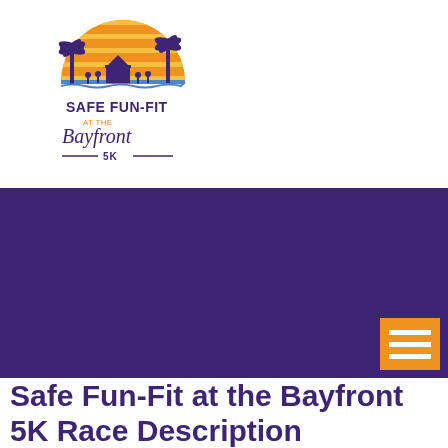[Figure (logo): Safe Fun-Fit at the Bayfront 5K logo with palm trees and sunset graphic above text reading SAFE FUN-FIT at the Bayfront 5K]
[Figure (other): Dark purple/indigo banner background area spanning full width]
Safe Fun-Fit at the Bayfront 5K Race Description
AS A REMINDER, WE WILL NOT BE HAVING A 5K/10K ON AUGUST 14TH. WE WILL RESUME ON